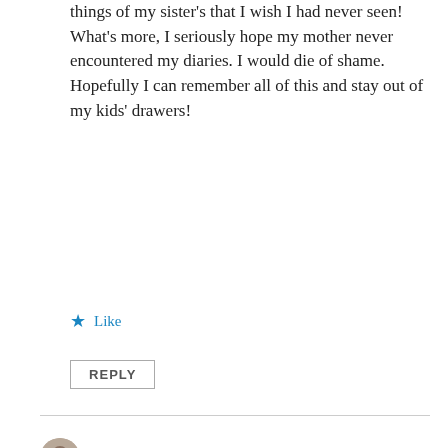things of my sister's that I wish I had never seen! What's more, I seriously hope my mother never encountered my diaries. I would die of shame. Hopefully I can remember all of this and stay out of my kids' drawers!
★ Like
REPLY
dlmchale
Privacy & Cookies: This site uses cookies. By continuing to use this website, you agree to their use.
To find out more, including how to control cookies, see here: Cookie Policy
Close and accept